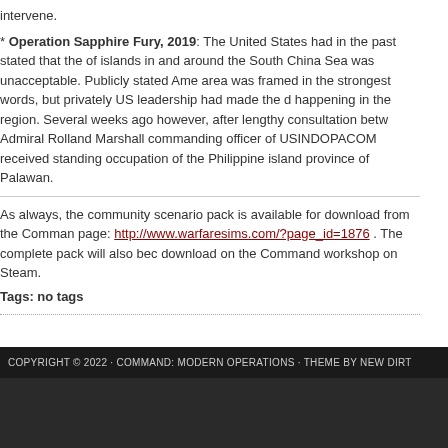intervene.
* Operation Sapphire Fury, 2019: The United States had in the past stated that the of islands in and around the South China Sea was unacceptable. Publicly stated Ame area was framed in the strongest words, but privately US leadership had made the d happening in the region. Several weeks ago however, after lengthy consultation betw Admiral Rolland Marshall commanding officer of USINDOPACOM received standing occupation of the Philippine island province of Palawan.
As always, the community scenario pack is available for download from the Comman page: http://www.warfaresims.com/?page_id=1876 . The complete pack will also bec download on the Command workshop on Steam.
Tags: no tags
COPYRIGHT © 2022 · COMMAND: MODERN OPERATIONS · THEME BY NEW DIRT